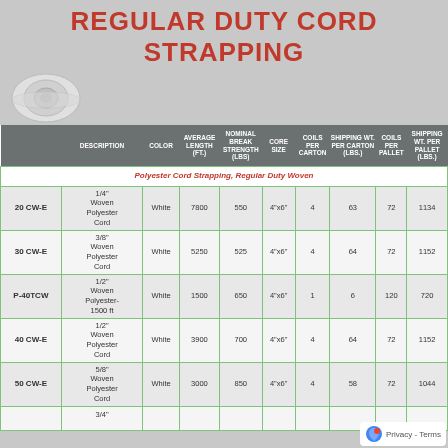REGULAR DUTY CORD STRAPPING
[Figure (photo): Roll of white woven polyester cord strapping on a gray background]
| DESCRIPTION | COLOR | AVERAGE LENGTH (ft.) | NOMINAL BREAK STRENGTH (lbs) | CORE SIZE | COILS PER CARTON | SHIPPING WT. PER CARTON (lbs.) | COILS PER PALLET | Shipping Wt. Per Pallet (lbs.) |
| --- | --- | --- | --- | --- | --- | --- | --- | --- |
| Polyester Cord Strapping, Regular Duty Woven |  |  |  |  |  |  |  |  |
| 1/4" Woven Polyester Cord | White | 7800 | 550 | 4"x6" | 4 | 63 | 72 | 1134 |
| 3/8" Woven Polyester Cord | White | 5250 | 525 | 4"x6" | 4 | 64 | 72 | 1152 |
| 1/2" Woven Polyester-1500 ft | White | 1500 | 650 | 4"x6" | 1 | 6 | 120 | 720 |
| 1/2" Woven Polyester Cord | White | 3900 | 700 | 4"x6" | 4 | 64 | 72 | 1152 |
| 5/8" Woven Polyester Cord | White | 3000 | 850 | 4"x6" | 4 | 58 | 72 | 1044 |
| 3/4" |  |  |  |  |  |  |  |  |